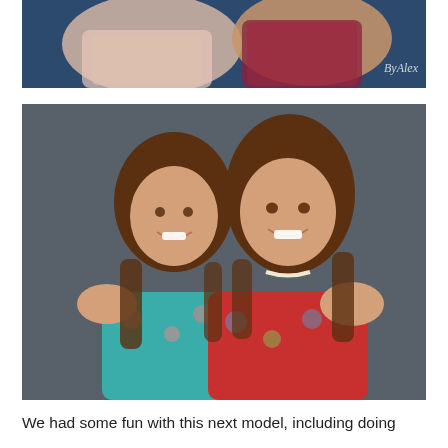[Figure (photo): Two young women in a studio portrait against a blue background. One wears a pink/blush lace top, the other wears a dark red/maroon lace top. A cursive watermark signature appears in the lower right corner.]
[Figure (photo): Two teenage girls smiling in a studio portrait against a dark gray background. The girl on the left wears a teal/blue floral dress; the girl on the right wears a red floral top with a pearl choker necklace. They are leaning together cheek to cheek.]
We had some fun with this next model, including doing